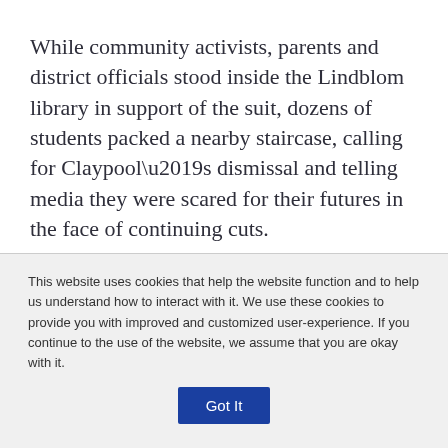While community activists, parents and district officials stood inside the Lindblom library in support of the suit, dozens of students packed a nearby staircase, calling for Claypool’s dismissal and telling media they were scared for their futures in the face of continuing cuts.
“I understand that they are upset,” Claypool said, adding
This website uses cookies that help the website function and to help us understand how to interact with it. We use these cookies to provide you with improved and customized user-experience. If you continue to the use of the website, we assume that you are okay with it.